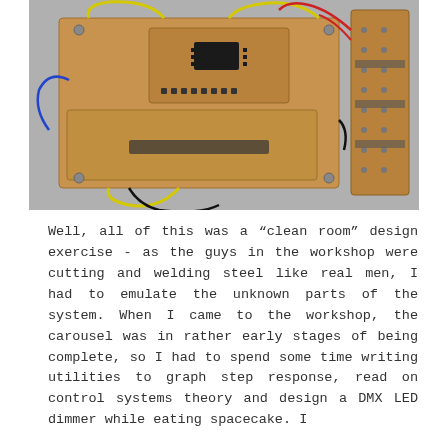[Figure (photo): Overhead photograph of circuit boards (PCBs) with wires (yellow, black, blue, red) connected to them, placed on a light grey surface. Two main PCBs are visible along with a third board on the right side.]
Well, all of this was a “clean room” design exercise - as the guys in the workshop were cutting and welding steel like real men, I had to emulate the unknown parts of the system. When I came to the workshop, the carousel was in rather early stages of being complete, so I had to spend some time writing utilities to graph step response, read on control systems theory and design a DMX LED dimmer while eating spacecake. I